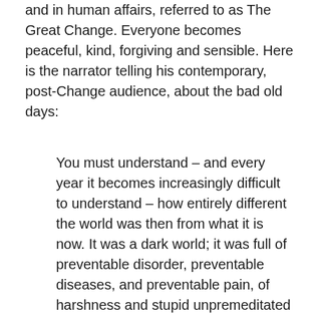and in human affairs, referred to as The Great Change. Everyone becomes peaceful, kind, forgiving and sensible. Here is the narrator telling his contemporary, post-Change audience, about the bad old days:
You must understand – and every year it becomes increasingly difficult to understand – how entirely different the world was then from what it is now. It was a dark world; it was full of preventable disorder, preventable diseases, and preventable pain, of harshness and stupid unpremeditated cruelties; but yet, it may be even by virtue of the general darkness, there were moments of a rare and evanescent beauty that seem no longer possible in my experience. The Great Change has come for ever more, happiness and beauty are our atmosphere, there is peace on